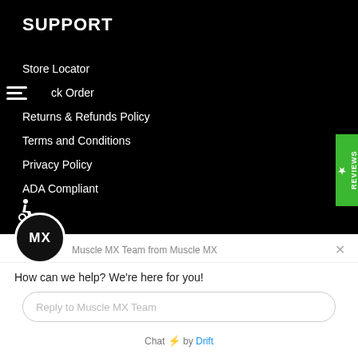SUPPORT
Store Locator
Track Order
Returns & Refunds Policy
Terms and Conditions
Privacy Policy
ADA Compliant
[Figure (screenshot): Muscle MX chat widget popup with avatar showing MX initials, header 'Muscle MX Team from Muscle MX', close button, message 'How can we help? We're here for you!', reply input field, and 'Chat by Drift' footer]
Muscle MX Team from Muscle MX
How can we help? We're here for you!
Reply to Muscle MX Team
Chat ⚡ by Drift